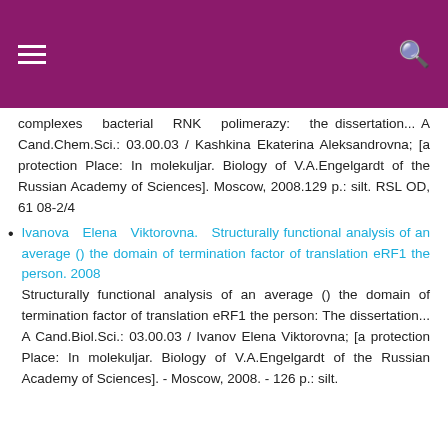complexes bacterial RNK polimerazy: the dissertation... A Cand.Chem.Sci.: 03.00.03 / Kashkina Ekaterina Aleksandrovna; [a protection Place: In molekuljar. Biology of V.A.Engelgardt of the Russian Academy of Sciences]. Moscow, 2008.129 p.: silt. RSL OD, 61 08-2/4
Ivanova Elena Viktorovna. Structurally functional analysis of an average () the domain of termination factor of translation eRF1 the person. 2008
Structurally functional analysis of an average () the domain of termination factor of translation eRF1 the person: The dissertation... A Cand.Biol.Sci.: 03.00.03 / Ivanov Elena Viktorovna; [a protection Place: In molekuljar. Biology of V.A.Engelgardt of the Russian Academy of Sciences]. - Moscow, 2008. - 126 p.: silt.